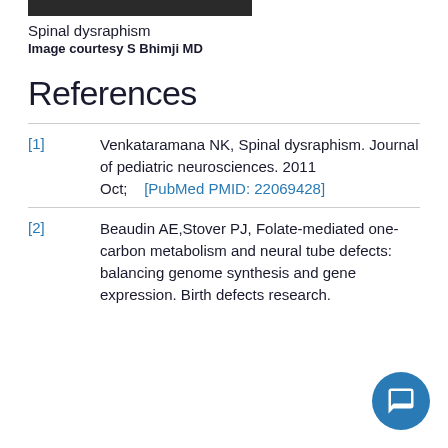[Figure (photo): Partial image of spinal dysraphism photo (cropped at top of page)]
Spinal dysraphism
Image courtesy S Bhimji MD
References
[1] Venkataramana NK, Spinal dysraphism. Journal of pediatric neurosciences. 2011 Oct; [PubMed PMID: 22069428]
[2] Beaudin AE,Stover PJ, Folate-mediated one-carbon metabolism and neural tube defects: balancing genome synthesis and gene expression. Birth defects research.